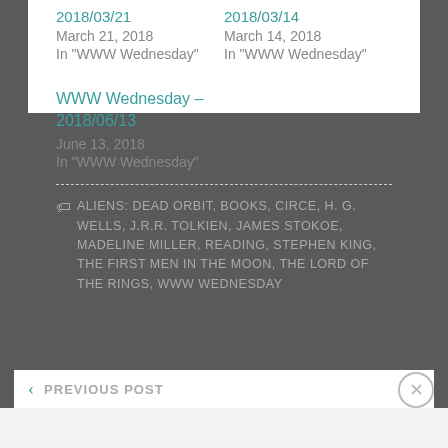2018/03/21
March 21, 2018
In "WWW Wednesday"
2018/03/14
March 14, 2018
In "WWW Wednesday"
WWW Wednesday – 2018/06/13
June 13, 2018
In "WWW Wednesday"
ALIENS: DEAD ORBIT, BOOKS, CIRCE, H. G. WELLS, J.R.R. TOLKIEN, JAMES STOKOE, MADELINE MILLER, READING, STEPHEN KING, THE FIRST MEN IN THE MOON, THE LORD OF THE RINGS, WWW WEDNESDAY
PREVIOUS POST
Advertisements
[Figure (screenshot): DuckDuckGo advertisement banner: Search, browse, and email with more privacy. All in One Free App]